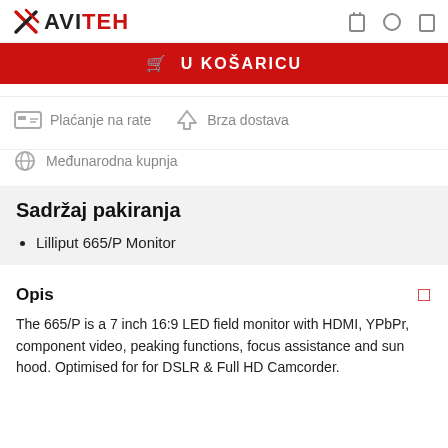AVITEH
U KOŠARICU
Plaćanje na rate
Brza dostava
Međunarodna kupnja
Sadržaj pakiranja
Lilliput 665/P Monitor
Opis
The 665/P is a 7 inch 16:9 LED field monitor with HDMI, YPbPr, component video, peaking functions, focus assistance and sun hood. Optimised for for DSLR & Full HD Camcorder.